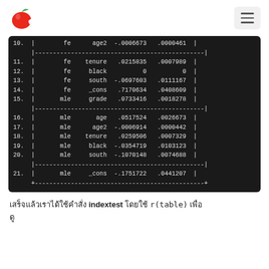Apple logo and hamburger menu
| num | pipe | col1 | col2 | val1 | val2 | pipe |
| --- | --- | --- | --- | --- | --- | --- |
| 10. | | | fe | age2 | -.0006673 | .0000461 | | |
| 11. | | | fe | tenure | .0215835 | .0007989 | | |
| 12. | | | fe | black | 0 | 0 | | |
| 13. | | | fe | south | -.0697603 | .0111167 | | |
| 14. | | | fe | _cons | .7170634 | .0408609 | | |
| 15. | | | mle | grade | .0733416 | .0018278 | | |
| 16. | | | mle | age | .0517524 | .0026673 | | |
| 17. | | | mle | age2 | -.0006914 | .0000442 | | |
| 18. | | | mle | tenure | .0259506 | .0007329 | | |
| 19. | | | mle | black | -.0354719 | .0103123 | | |
| 20. | | | mle | south | -.1070148 | .0074688 | | |
| 21. | | | mle | _cons | -.1751722 | .0441207 | | |
indextest r(table)